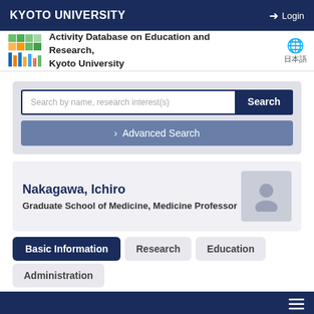KYOTO UNIVERSITY
Activity Database on Education and Research, Kyoto University
Search by name, research interest(s)
> Advanced Search
Nakagawa, Ichiro
Graduate School of Medicine, Medicine Professor
Basic Information
Research
Education
Administration